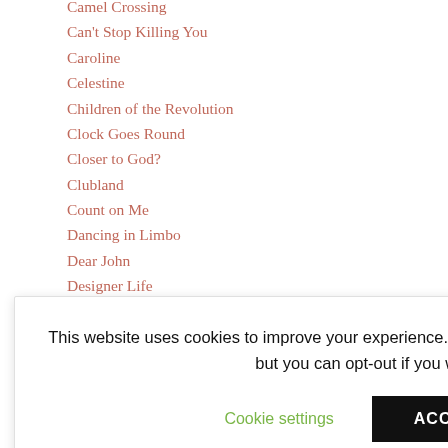Camel Crossing
Can't Stop Killing You
Caroline
Celestine
Children of the Revolution
Clock Goes Round
Closer to God?
Clubland
Count on Me
Dancing in Limbo
Dear John
Designer Life
Don't Ask Me
Don't Come the Cowboy With Me, Sonny Jim!
Don't Go Home
Don't Run Away From Me Now
This website uses cookies to improve your experience. We'll assume you're ok with this, but you can opt-out if you wish.
Good for Me